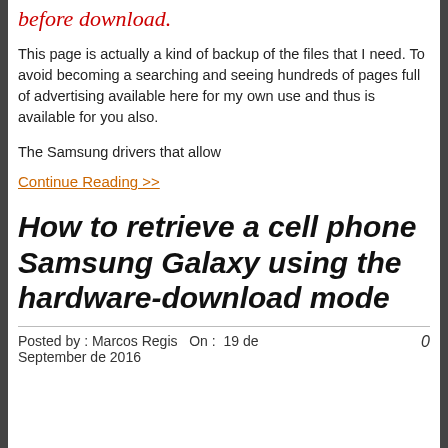before download.
This page is actually a kind of backup of the files that I need. To avoid becoming a searching and seeing hundreds of pages full of advertising available here for my own use and thus is available for you also.
The Samsung drivers that allow
Continue Reading >>
How to retrieve a cell phone Samsung Galaxy using the hardware-download mode
Posted by : Marcos Regis  On :  19 de September de 2016    0